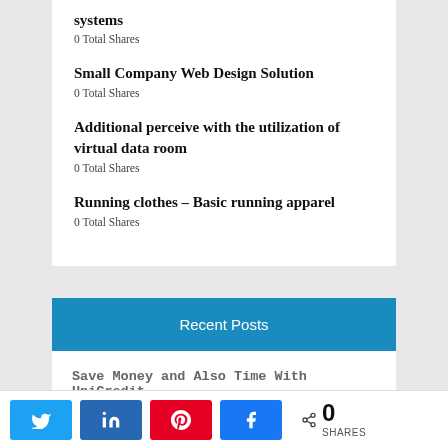systems
0 Total Shares
Small Company Web Design Solution
0 Total Shares
Additional perceive with the utilization of virtual data room
0 Total Shares
Running clothes – Basic running apparel
0 Total Shares
Recent Posts
Save Money and Also Time With UniCredit
0 SHARES